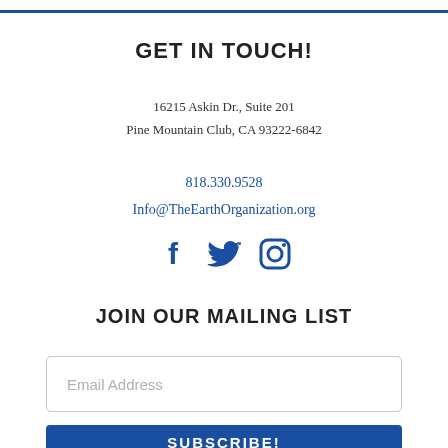GET IN TOUCH!
16215 Askin Dr., Suite 201
Pine Mountain Club, CA 93222-6842
818.330.9528
Info@TheEarthOrganization.org
[Figure (infographic): Social media icons: Facebook (f), Twitter (bird), Instagram (camera in square)]
JOIN OUR MAILING LIST
Email Address
SUBSCRIBE!